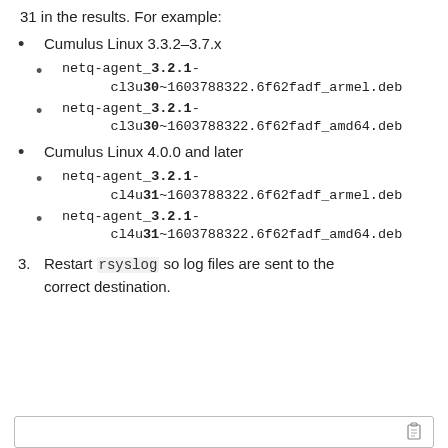31 in the results. For example:
Cumulus Linux 3.3.2–3.7.x
netq-agent_3.2.1-cl3u30~1603788322.6f62fadf_armel.deb
netq-agent_3.2.1-cl3u30~1603788322.6f62fadf_amd64.deb
Cumulus Linux 4.0.0 and later
netq-agent_3.2.1-cl4u31~1603788322.6f62fadf_armel.deb
netq-agent_3.2.1-cl4u31~1603788322.6f62fadf_amd64.deb
3. Restart rsyslog so log files are sent to the correct destination.
[Figure (screenshot): Code block box with clipboard icon at bottom of page]